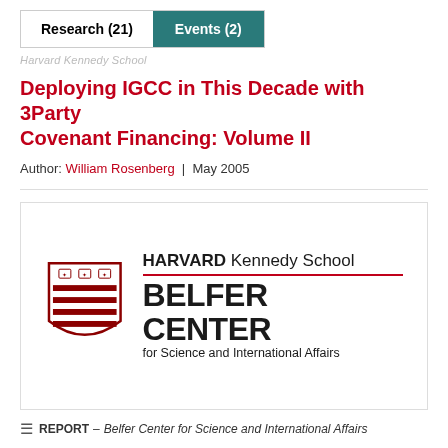Research (21)  Events (2)
Harvard Kennedy School
Deploying IGCC in This Decade with 3Party Covenant Financing: Volume II
Author: William Rosenberg  |  May 2005
[Figure (logo): Harvard Kennedy School Belfer Center for Science and International Affairs logo with shield emblem]
REPORT – Belfer Center for Science and International Affairs